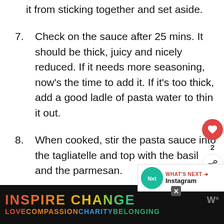it from sticking together and set aside.
7. Check on the sauce after 25 mins. It should be thick, juicy and nicely reduced. If it needs more seasoning, now's the time to add it. If it's too thick, add a good ladle of pasta water to thin it out.
8. When cooked, stir the pasta sauce into the tagliatelle and top with the basil and the parmesan.
[Figure (advertisement): SHE CAN STEM dark banner advertisement]
[Figure (infographic): WHAT'S NEXT arrow with Instagram label and thumbnail]
[Figure (advertisement): INSPIRE CHANGE / LOVE COMPASSION CHARITY BELONGING colorful bottom banner ad]